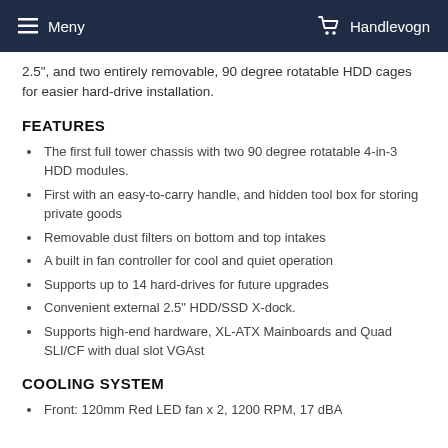Meny   Handlevogn
2.5", and two entirely removable, 90 degree rotatable HDD cages for easier hard-drive installation.
FEATURES
The first full tower chassis with two 90 degree rotatable 4-in-3 HDD modules.
First with an easy-to-carry handle, and hidden tool box for storing private goods
Removable dust filters on bottom and top intakes
A built in fan controller for cool and quiet operation
Supports up to 14 hard-drives for future upgrades
Convenient external 2.5" HDD/SSD X-dock.
Supports high-end hardware, XL-ATX Mainboards and Quad SLI/CF with dual slot VGAst
COOLING SYSTEM
Front: 120mm Red LED fan x 2, 1200 RPM, 17 dBA